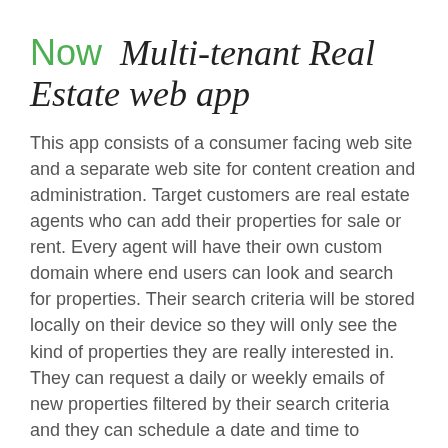Now   Multi-tenant Real Estate web app
This app consists of a consumer facing web site and a separate web site for content creation and administration. Target customers are real estate agents who can add their properties for sale or rent. Every agent will have their own custom domain where end users can look and search for properties. Their search criteria will be stored locally on their device so they will only see the kind of properties they are really interested in. They can request a daily or weekly emails of new properties filtered by their search criteria and they can schedule a date and time to inspect the property.
Technologies used:
Node.js, Vue.js, Vuetify, AWS API Gateway, AWS